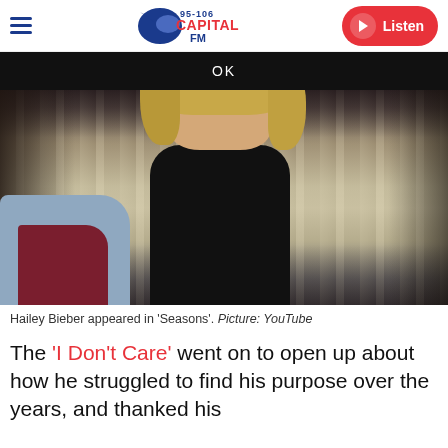Capital FM 95-106 | Listen
OK
[Figure (photo): Hailey Bieber seated on a light blue sofa with dark red cushions, wearing a black leather jacket, with wavy blonde hair, in what appears to be a room with curtains in the background.]
Hailey Bieber appeared in 'Seasons'. Picture: YouTube
The 'I Don't Care' went on to open up about how he struggled to find his purpose over the years, and thanked his